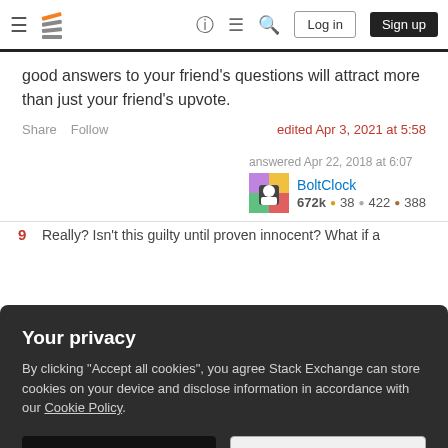Stack Exchange navigation bar with hamburger menu, logo, help, chat, search icons, Log in button, Sign up button
good answers to your friend's questions will attract more than just your friend's upvote.
Share  Follow    edited Apr 3, 2021 at 5:58
answered Apr 22, 2018 at 6:07  BoltClock  672k  38  422  388
9  Really? Isn't this guilty until proven innocent? What if a
Your privacy
By clicking "Accept all cookies", you agree Stack Exchange can store cookies on your device and disclose information in accordance with our Cookie Policy.
Accept all cookies
Customize settings
Police but Innocence rules. — StudioTime  Apr 22, 2018